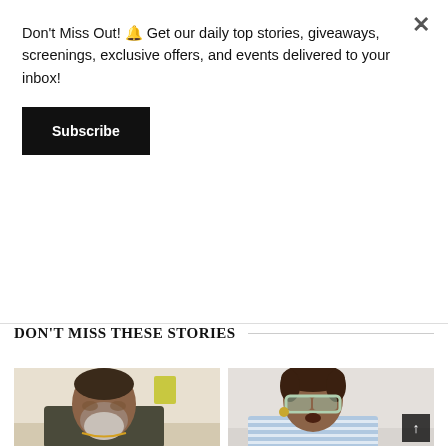Don't Miss Out! 🔔 Get our daily top stories, giveaways, screenings, exclusive offers, and events delivered to your inbox!
Subscribe
'Hooking Up'
DON'T MISS THESE STORIES
[Figure (photo): Man with grey beard looking down, wearing a dark jacket with chain necklace, indoor background]
[Figure (photo): Woman with glasses and loc hairstyle, wearing a striped top, speaking or talking]